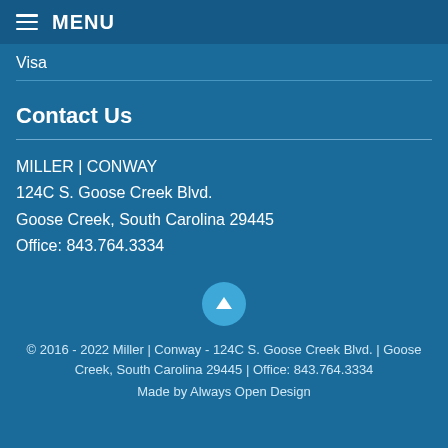≡ MENU
Visa
Contact Us
MILLER | CONWAY
124C S. Goose Creek Blvd.
Goose Creek, South Carolina 29445
Office: 843.764.3334
[Figure (illustration): Circular blue button with white upward arrow icon]
© 2016 - 2022 Miller | Conway - 124C S. Goose Creek Blvd. | Goose Creek, South Carolina 29445 | Office: 843.764.3334
Made by Always Open Design